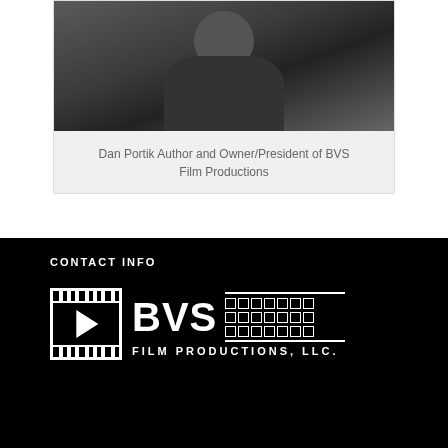[Figure (photo): Portrait photo of Dan Portik, a man wearing a dark jacket, cropped at top of frame]
Dan Portik Author and Owner/President of BVS Film Productions
CONTACT INFO
[Figure (logo): BVS Film Productions, LLC. logo — white film strip box with play button on left, bold BVS text with film strip icon, and FILM PRODUCTIONS, LLC. text below]